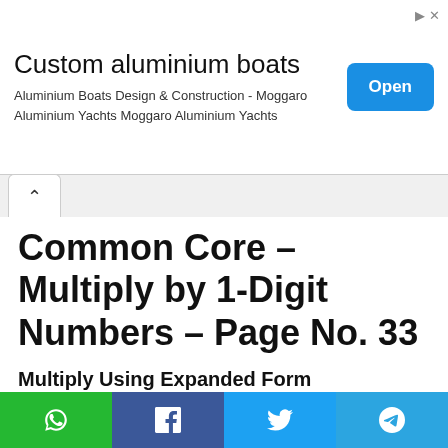[Figure (screenshot): Advertisement banner for Custom aluminium boats - Moggaro Aluminium Yachts with an Open button]
Common Core – Multiply by 1-Digit Numbers – Page No. 33
Multiply Using Expanded Form
Record the product. Use expanded form to help.
Question 1.
[Figure (screenshot): Bottom social share bar with WhatsApp, Facebook, Twitter, and Telegram buttons]